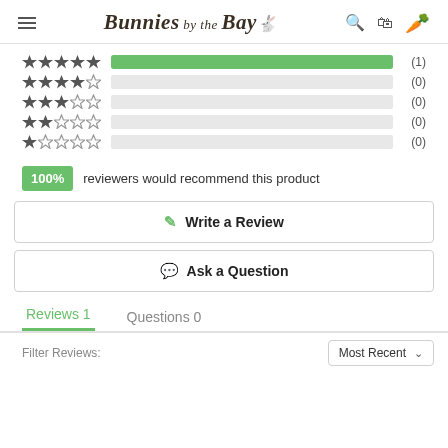Bunnies by the Bay
[Figure (infographic): Star rating distribution bars: 5-star with green filled bar (1), 4-star empty bar (0), 3-star empty bar (0), 2-star empty bar (0), 1-star empty bar (0)]
100% reviewers would recommend this product
Write a Review
Ask a Question
Reviews 1    Questions 0
Most Recent